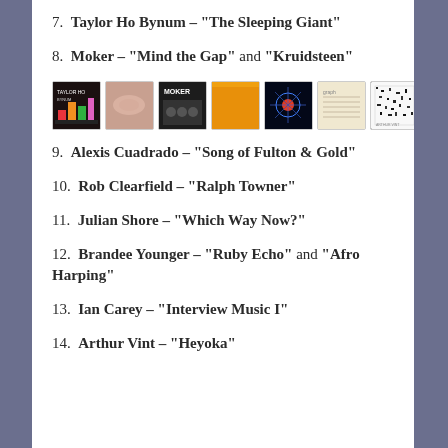7.  Taylor Ho Bynum – “The Sleeping Giant”
8.  Moker – “Mind the Gap” and “Kruidsteen”
[Figure (photo): Row of seven album cover thumbnails]
9.  Alexis Cuadrado – “Song of Fulton & Gold”
10.  Rob Clearfield – “Ralph Towner”
11.  Julian Shore – “Which Way Now?”
12.  Brandee Younger – “Ruby Echo” and “Afro Harping”
13.  Ian Carey – “Interview Music I”
14.  Arthur Vint – “Heyoka”